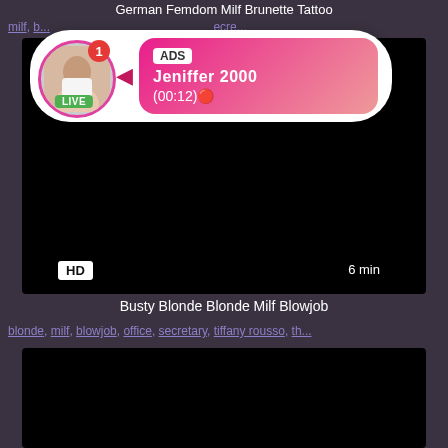German Femdom Milf Brunette Tattoo
milf, b..., ecre...
[Figure (other): Ad popup overlay with avatar, LIVE badge, notification dot, and pink gradient ad box showing 'ADS Jeniffer 2000 (00:12)']
[Figure (other): Black video thumbnail with HD badge and 6 min duration label]
Busty Blonde Blonde Milf Blowjob
blonde, milf, blowjob, office, secretary, tiffany rousso, th...
[Figure (other): Black video thumbnail (second video)]